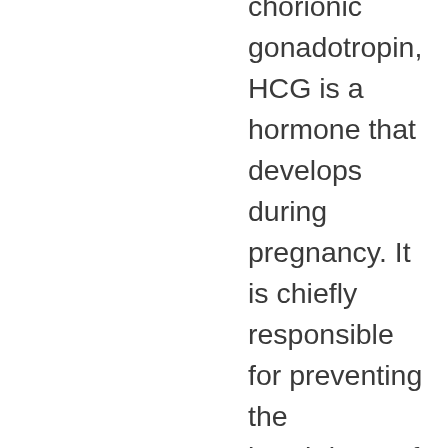chorionic gonadotropin, HCG is a hormone that develops during pregnancy. It is chiefly responsible for preventing the breakdown of the corpus luteum by maintaining levels of progesterone, but it is also believed to have an effect on the hypothalamus, the gland that regulate metabolism.
If you closely follow an HCG diet regimen by eating a low-calorie diet, maintaining a healthy lifestyle, and injecting specified amounts of HCG daily, you may be able to lose unwanted pounds. Additionally, you may be able to sidestep certain diet side effects on the HCG diet, like